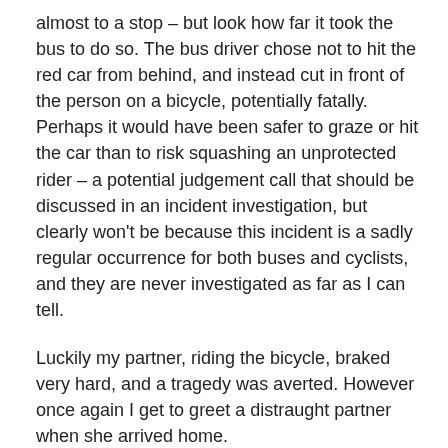almost to a stop – but look how far it took the bus to do so. The bus driver chose not to hit the red car from behind, and instead cut in front of the person on a bicycle, potentially fatally. Perhaps it would have been safer to graze or hit the car than to risk squashing an unprotected rider – a potential judgement call that should be discussed in an incident investigation, but clearly won't be because this incident is a sadly regular occurrence for both buses and cyclists, and they are never investigated as far as I can tell.
Luckily my partner, riding the bicycle, braked very hard, and a tragedy was averted. However once again I get to greet a distraught partner when she arrived home.
There really was no room for error if she had continued.